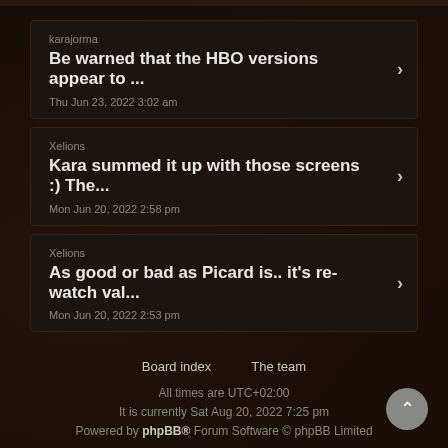karajorma
Be warned that the HBO versions appear to ...
Thu Jun 23, 2022 3:02 am
Xelions
Kara summed it up with those screens :) The...
Mon Jun 20, 2022 2:58 pm
Xelions
As good or bad as Picard is.. it's re-watch val...
Mon Jun 20, 2022 2:53 pm
Board index   The team
All times are UTC+02:00
It is currently Sat Aug 20, 2022 7:25 pm
Powered by phpBB® Forum Software © phpBB Limited